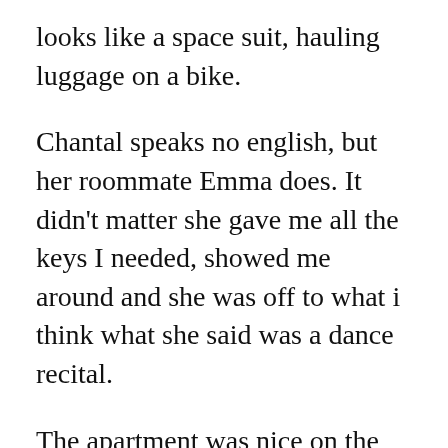looks like a space suit, hauling luggage on a bike.
Chantal speaks no english, but her roommate Emma does. It didn’t matter she gave me all the keys I needed, showed me around and she was off to what i think what she said was a dance recital.
The apartment was nice on the top floor and from one side had a view of the Sacré-Cœur (Sacred heart of Paris) It’s a roman catholic church.